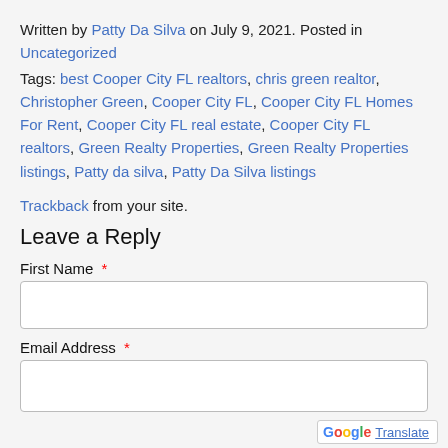Written by Patty Da Silva on July 9, 2021. Posted in Uncategorized
Tags: best Cooper City FL realtors, chris green realtor, Christopher Green, Cooper City FL, Cooper City FL Homes For Rent, Cooper City FL real estate, Cooper City FL realtors, Green Realty Properties, Green Realty Properties listings, Patty da silva, Patty Da Silva listings
Trackback from your site.
Leave a Reply
First Name *
Email Address *